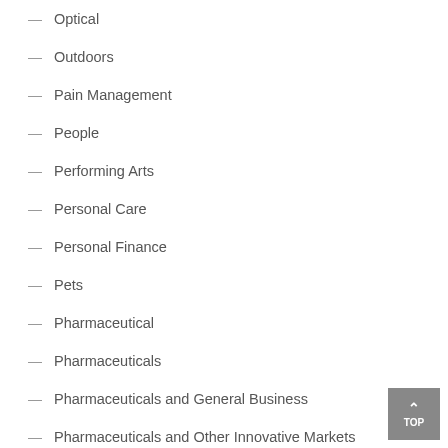Optical
Outdoors
Pain Management
People
Performing Arts
Personal Care
Personal Finance
Pets
Pharmaceutical
Pharmaceuticals
Pharmaceuticals and General Business
Pharmaceuticals and Other Innovative Markets
Pharmaceuticals and Related Markets
Pharmacy